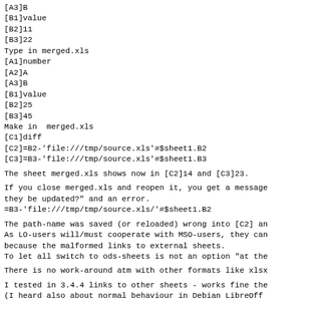[A3]B
[B1]value
[B2]11
[B3]22
Type in merged.xls
[A1]number
[A2]A
[A3]B
[B1]value
[B2]25
[B3]45
Make in  merged.xls
[C1]diff
[C2]=B2-'file:///tmp/source.xls'#$sheet1.B2
[C3]=B3-'file:///tmp/source.xls'#$sheet1.B3
The sheet merged.xls shows now in [C2]14 and [C3]23.
If you close merged.xls and reopen it, you get a message they be updated?" and an error.
=B3-'file:///tmp/tmp/source.xls/'#$sheet1.B2
The path-name was saved (or reloaded) wrong into [C2] an
As LO-users will/must cooperate with MSO-users, they can
because the malformed links to external sheets.
To let all switch to ods-sheets is not an option "at the
There is no work-around atm with other formats like xlsx
I tested in 3.4.4 links to other sheets - works fine the
(I heard also about normal behaviour in Debian LibreOff